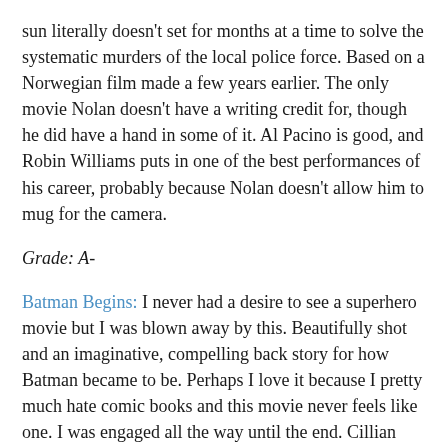sun literally doesn't set for months at a time to solve the systematic murders of the local police force. Based on a Norwegian film made a few years earlier. The only movie Nolan doesn't have a writing credit for, though he did have a hand in some of it. Al Pacino is good, and Robin Williams puts in one of the best performances of his career, probably because Nolan doesn't allow him to mug for the camera.
Grade: A-
Batman Begins: I never had a desire to see a superhero movie but I was blown away by this. Beautifully shot and an imaginative, compelling back story for how Batman became to be. Perhaps I love it because I pretty much hate comic books and this movie never feels like one. I was engaged all the way until the end. Cillian Murphy is awesome as the Scarecrow, but Michael Caine and Gary Oldman are inspired choices as well. Katie Holmes was a misstep as Rachel Dawes (corrected with Maggie Gyllenhaal in the sequel) but she doesn't ruin anything.